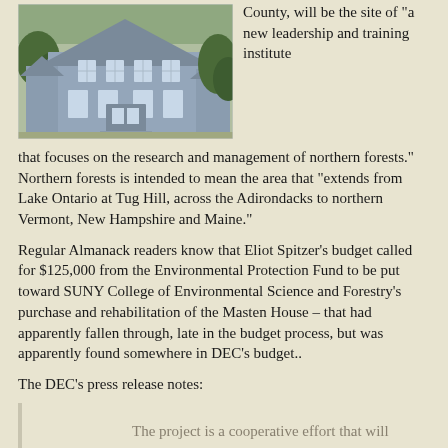[Figure (photo): Photograph of a large multi-story house with shingle siding, multiple windows, and trees surrounding it — likely the Masten House.]
County, will be the site of “a new leadership and training institute that focuses on the research and management of northern forests.” Northern forests is intended to mean the area that “extends from Lake Ontario at Tug Hill, across the Adirondacks to northern Vermont, New Hampshire and Maine.”
Regular Almanack readers know that Eliot Spitzer’s budget called for $125,000 from the Environmental Protection Fund to be put toward SUNY College of Environmental Science and Forestry’s purchase and rehabilitation of the Masten House – that had apparently fallen through, late in the budget process, but was apparently found somewhere in DEC’s budget..
The DEC’s press release notes:
The project is a cooperative effort that will enhance forest preserve and wildlands management research and contribute to the local economy. ESF will run the Northern Forest Institute (NFI) on a 46-acre portion of a property